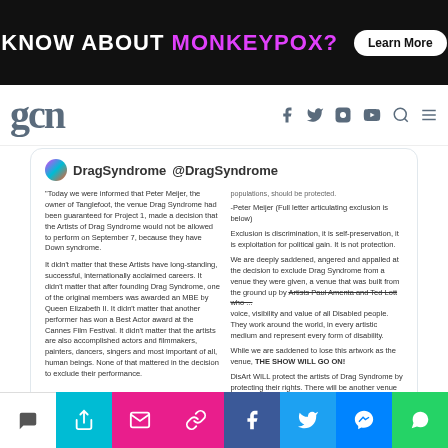[Figure (screenshot): Ad banner: KNOW ABOUT MONKEYPOX? Learn More button on black background]
gcn — site header with social media icons (Facebook, Twitter, Instagram, YouTube, Search, Menu)
[Figure (screenshot): Tweet from DragSyndrome @DragSyndrome — two column tweet text about Drag Syndrome being excluded from performing at Tanglefoot venue. Left column: Today we were informed that Peter Meijer, the owner of Tanglefoot, the venue Drag Syndrome had been guaranteed for Project 1, made a decision that the Artists of Drag Syndrome would not be allowed to perform on September 7, because they have Down syndrome. It didn't matter that these Artists have long-standing, successful, internationally acclaimed careers. It didn't matter that after founding Drag Syndrome, one of the original members was awarded an MBE by Queen Elizabeth II. It didn't matter that another performer has won a Best Actor award at the Cannes Film Festival. It didn't matter that the artists are also accomplished actors and filmmakers, painters, dancers, singers and most important of all, human beings. None of that mattered in the decision to exclude their performance. Right column: populations, should be protected. -Peter Meijer (Full letter articulating exclusion is below) Exclusion is discrimination, it is self-preservation, it is exploitation for political gain. It is not protection. We are deeply saddened, angered and appalled at the decision to exclude Drag Syndrome from a venue they were given, a venue that was built from the ground up by Artists Paul Amenta and Ted Lott who ... voice, visibility and value of all Disabled people. They work around the world, in every artistic medium and represent every form of disability. While we are saddened to lose this artwork as the venue, THE SHOW WILL GO ON! DisArt WILL protect the artists of Drag Syndrome by protecting their rights. There will be another venue announced soon, and on September 7th, as part of Project 1 by ArtPrize, Drag Syndrome will perform in]
11:34 PM · Aug 23, 2019
[Figure (infographic): Bottom social share bar with icons: comments, teal share, pink link, Facebook (blue), Twitter (light blue), Messenger (blue), WhatsApp (green)]